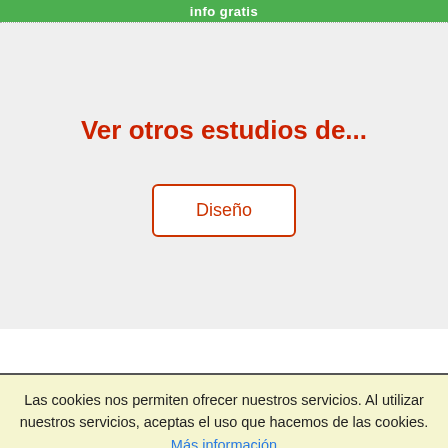info gratis
Ver otros estudios de...
Diseño
Las cookies nos permiten ofrecer nuestros servicios. Al utilizar nuestros servicios, aceptas el uso que hacemos de las cookies. Más información   Entendido